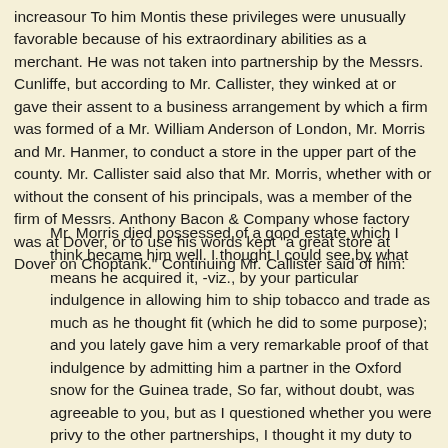increasour To him Montis these privileges were unusually favorable because of his extraordinary abilities as a merchant. He was not taken into partnership by the Messrs. Cunliffe, but according to Mr. Callister, they winked at or gave their assent to a business arrangement by which a firm was formed of a Mr. William Anderson of London, Mr. Morris and Mr. Hanmer, to conduct a store in the upper part of the county. Mr. Callister said also that Mr. Morris, whether with or without the consent of his principals, was a member of the firm of Messrs. Anthony Bacon & Company whose factory was at Dover, or to use his words kept "a great store at Dover on Choptank." Continuing Mr. Callister said of him:
Mr. Morris died possessed of a good estate which I think became him well. I thought I could see by what means he acquired it, -viz., by your particular indulgence in allowing him to ship tobacco and trade as much as he thought fit (which he did to some purpose); and you lately gave him a very remarkable proof of that indulgence by admitting him a partner in the Oxford snow for the Guinea trade, So far, without doubt, was agreeable to you, but as I questioned whether you were privy to the other partnerships, I thought it my duty to make you acquainted.